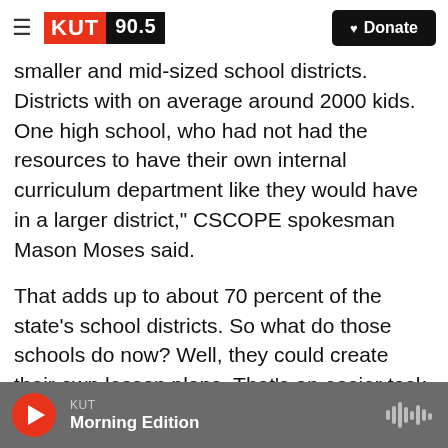KUT 90.5 | Donate
smaller and mid-sized school districts. Districts with on average around 2000 kids. One high school, who had not had the resources to have their own internal curriculum department like they would have in a larger district," CSCOPE spokesman Mason Moses said.
That adds up to about 70 percent of the state's school districts. So what do those schools do now? Well, they could create their own lesson plans. That's an easier task if you're in a big school district with an internal curriculum department. Which is why CSCOPE wants districts should collaborate.
KUT | Morning Edition